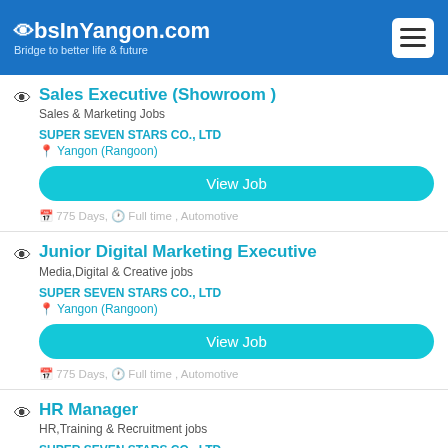JobsInYangon.com – Bridge to better life & future
Sales Executive (Showroom )
Sales & Marketing Jobs
SUPER SEVEN STARS CO., LTD
Yangon (Rangoon)
View Job
775 Days,  Full time , Automotive
Junior Digital Marketing Executive
Media,Digital & Creative jobs
SUPER SEVEN STARS CO., LTD
Yangon (Rangoon)
View Job
775 Days,  Full time , Automotive
HR Manager
HR,Training & Recruitment jobs
SUPER SEVEN STARS CO., LTD